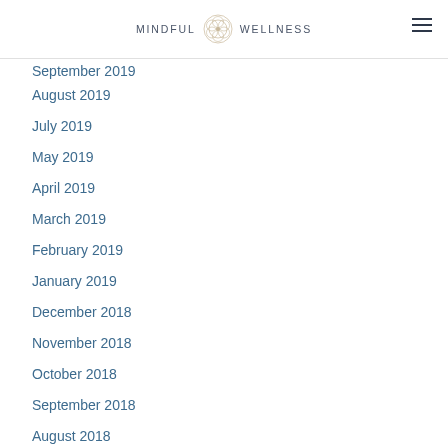MINDFUL WELLNESS
September 2019
August 2019
July 2019
May 2019
April 2019
March 2019
February 2019
January 2019
December 2018
November 2018
October 2018
September 2018
August 2018
July 2018
June 2018
April 2018
March 2018